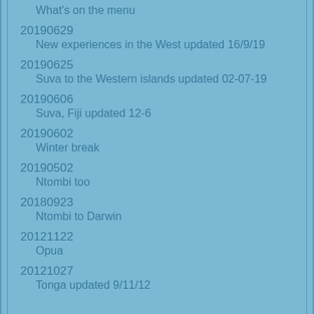What's on the menu
20190629
    New experiences in the West updated 16/9/19
20190625
    Suva to the Western islands updated 02-07-19
20190606
    Suva, Fiji updated 12-6
20190602
    Winter break
20190502
    Ntombi too
20180923
    Ntombi to Darwin
20121122
    Opua
20121027
    Tonga updated 9/11/12